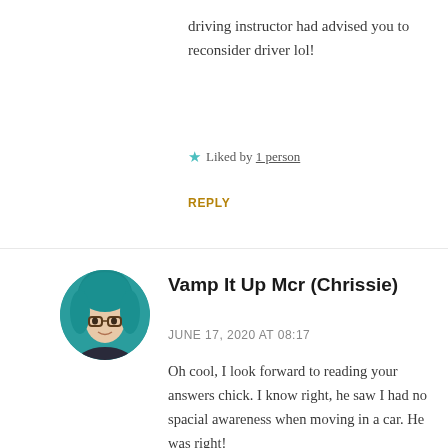driving instructor had advised you to reconsider driver lol!
★ Liked by 1 person
REPLY
[Figure (photo): Circular avatar of a person with teal/blue hair and glasses]
Vamp It Up Mcr (Chrissie)
JUNE 17, 2020 AT 08:17
Oh cool, I look forward to reading your answers chick. I know right, he saw I had no spacial awareness when moving in a car. He was right!